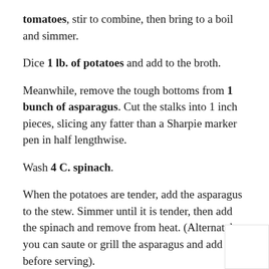tomatoes, stir to combine, then bring to a boil and simmer.
Dice 1 lb. of potatoes and add to the broth.
Meanwhile, remove the tough bottoms from 1 bunch of asparagus. Cut the stalks into 1 inch pieces, slicing any fatter than a Sharpie marker pen in half lengthwise.
Wash 4 C. spinach.
When the potatoes are tender, add the asparagus to the stew. Simmer until it is tender, then add the spinach and remove from heat. (Alternately you can saute or grill the asparagus and add just before serving).